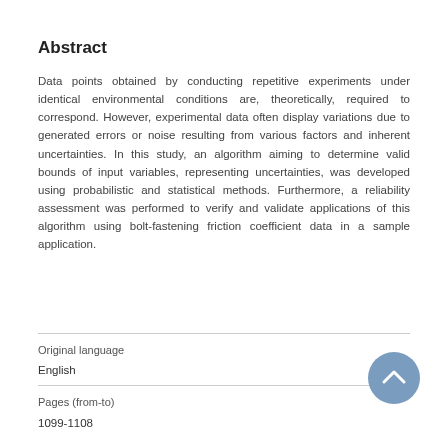Abstract
Data points obtained by conducting repetitive experiments under identical environmental conditions are, theoretically, required to correspond. However, experimental data often display variations due to generated errors or noise resulting from various factors and inherent uncertainties. In this study, an algorithm aiming to determine valid bounds of input variables, representing uncertainties, was developed using probabilistic and statistical methods. Furthermore, a reliability assessment was performed to verify and validate applications of this algorithm using bolt-fastening friction coefficient data in a sample application.
Original language
English
Pages (from-to)
1099-1108